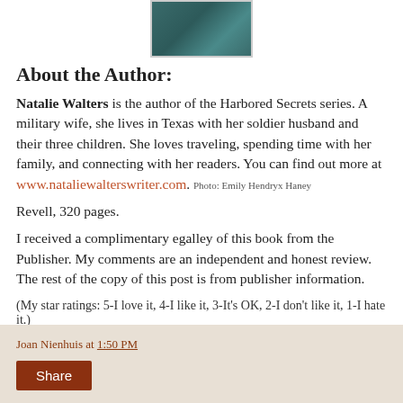[Figure (photo): Author photo, cropped top portion visible]
About the Author:
Natalie Walters is the author of the Harbored Secrets series. A military wife, she lives in Texas with her soldier husband and their three children. She loves traveling, spending time with her family, and connecting with her readers. You can find out more at www.nataliewalterswriter.com. Photo: Emily Hendryx Haney
Revell, 320 pages.
I received a complimentary egalley of this book from the Publisher. My comments are an independent and honest review. The rest of the copy of this post is from publisher information.
(My star ratings: 5-I love it, 4-I like it, 3-It's OK, 2-I don't like it, 1-I hate it.)
Joan Nienhuis at 1:50 PM